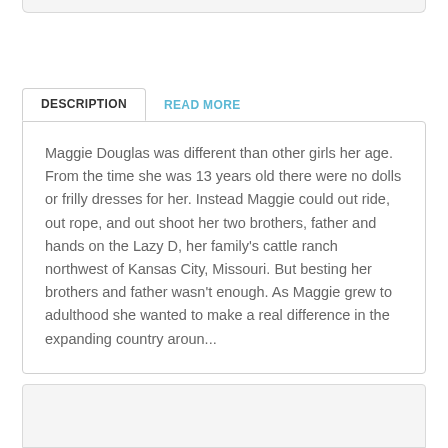Maggie Douglas was different than other girls her age. From the time she was 13 years old there were no dolls or frilly dresses for her. Instead Maggie could out ride, out rope, and out shoot her two brothers, father and hands on the Lazy D, her family's cattle ranch northwest of Kansas City, Missouri. But besting her brothers and father wasn't enough. As Maggie grew to adulthood she wanted to make a real difference in the expanding country aroun...